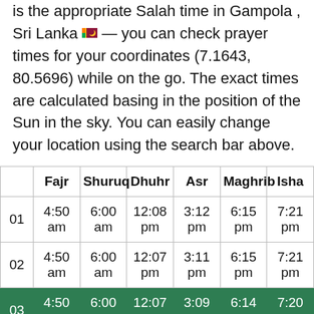is the appropriate Salah time in Gampola , Sri Lanka 🇱🇰 — you can check prayer times for your coordinates (7.1643, 80.5696) while on the go. The exact times are calculated basing in the position of the Sun in the sky. You can easily change your location using the search bar above.
|  | Fajr | Shuruq | Dhuhr | Asr | Maghrib | Isha |
| --- | --- | --- | --- | --- | --- | --- |
| 01 | 4:50 am | 6:00 am | 12:08 pm | 3:12 pm | 6:15 pm | 7:21 pm |
| 02 | 4:50 am | 6:00 am | 12:07 pm | 3:11 pm | 6:15 pm | 7:21 pm |
| 03 | 4:50 am | 6:00 am | 12:07 pm | 3:09 pm | 6:14 pm | 7:20 pm |